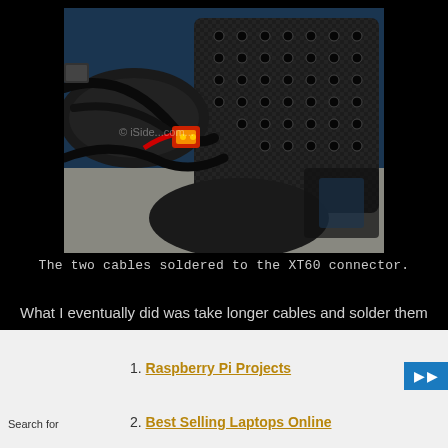[Figure (photo): Close-up photograph of a drone's carbon fiber frame showing two cables soldered to an XT60 connector, with multiple bolt holes on the carbon fiber plate and cables routed around the frame. Watermark reads '© iSide...com...']
The two cables soldered to the XT60 connector.
What I eventually did was take longer cables and solder them onto the XT60 connector, then wrapped the cables around the
1. Raspberry Pi Projects
2. Best Selling Laptops Online
Search for